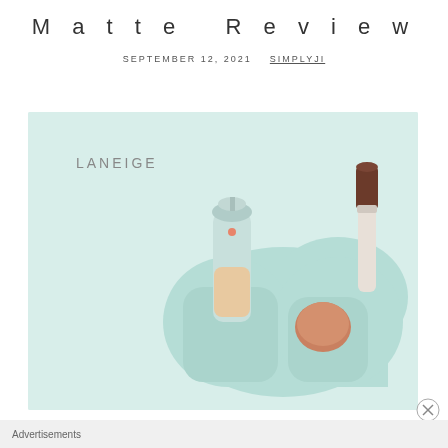Matte Review
SEPTEMBER 12, 2021  SIMPLYJI
[Figure (photo): Laneige branded cosmetic product set on a light mint/teal background. Shows a foundation pump bottle with a rounded cap, a round sponge/puff, and a flat-tipped makeup brush, all arranged in a mint-colored holder shaped like a figure-8 or pill shape. The LANEIGE logo appears in the upper left of the image.]
Advertisements